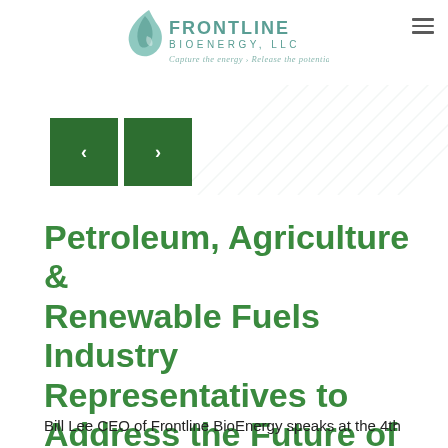[Figure (logo): Frontline BioEnergy LLC logo with tagline 'Capture the energy > Release the potential']
[Figure (other): Hamburger menu icon (three horizontal lines) in top right corner]
[Figure (other): Two green square navigation buttons with left and right arrow chevrons]
Petroleum, Agriculture & Renewable Fuels Industry Representatives to Address the Future of Biofuels
Bill Lee CEO of Frontline BioEnergy speaks at the 4th annual...